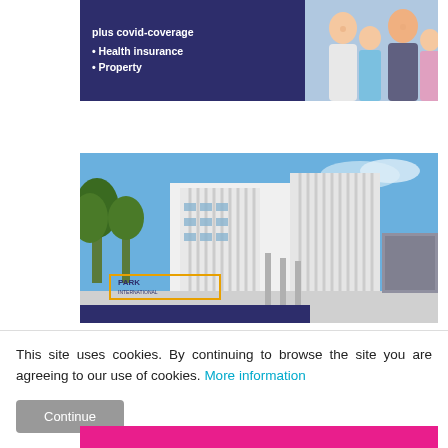[Figure (illustration): Insurance advertisement banner with dark blue/navy background showing bullet points 'plus covid-coverage', 'Health insurance', 'Property' on the left, and a photo of a smiling family (woman, man, two children) on the right]
[Figure (photo): Photograph of Park International School building – a modern white multi-story structure with vertical fins/louvers, blue sky background and trees. A 'PARK INTERNATIONAL SCHOOL' logo sign is visible in the lower left of the image. A dark navy banner runs across the bottom of the photo.]
This site uses cookies. By continuing to browse the site you are agreeing to our use of cookies. More information
Continue
[Figure (illustration): Bottom pink/magenta bar strip, partially visible at very bottom of page]